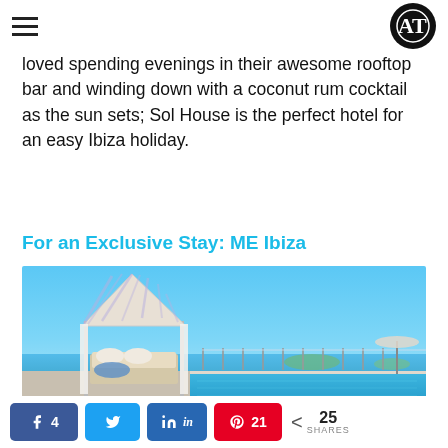AT logo and hamburger menu
loved spending evenings in their awesome rooftop bar and winding down with a coconut rum cocktail as the sun sets; Sol House is the perfect hotel for an easy Ibiza holiday.
For an Exclusive Stay: ME Ibiza
[Figure (photo): Luxury hotel pool area with a white pyramid-shaped cabana/daybed structure, infinity pool overlooking the sea, blue sky background — ME Ibiza hotel]
Share buttons: Facebook 4, Twitter, LinkedIn, Pinterest 21, Share 25